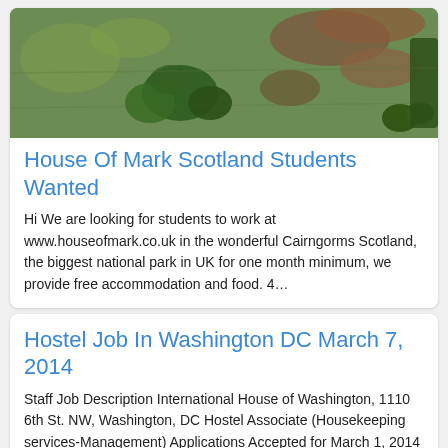[Figure (photo): Aerial view of green landscape with trees and brown patches, Cairngorms Scotland]
House Of Mark Scotland Students Wanted
Hi We are looking for students to work at www.houseofmark.co.uk in the wonderful Cairngorms Scotland, the biggest national park in UK for one month minimum, we provide free accommodation and food. 4…
Hostel Job In Washington DC March 7, 2014
Staff Job Description International House of Washington, 1110 6th St. NW, Washington, DC Hostel Associate (Housekeeping services-Management) Applications Accepted for March 1, 2014 for March 7,…